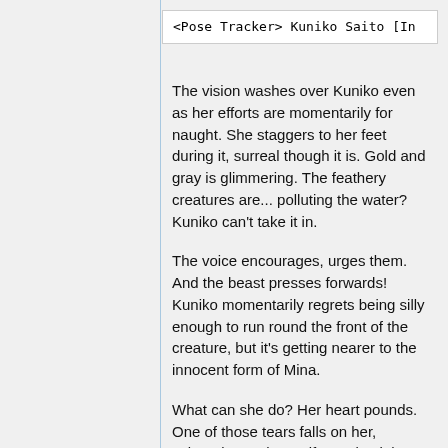<Pose Tracker> Kuniko Saito [In
The vision washes over Kuniko even as her efforts are momentarily for naught. She staggers to her feet during it, surreal though it is. Gold and gray is glimmering. The feathery creatures are... polluting the water? Kuniko can't take it in.
The voice encourages, urges them. And the beast presses forwards! Kuniko momentarily regrets being silly enough to run round the front of the creature, but it's getting nearer to the innocent form of Mina.
What can she do? Her heart pounds. One of those tears falls on her, splattering on her uniform - it might resemble spilled tomato sauce momentarily but the heat, the pain, the